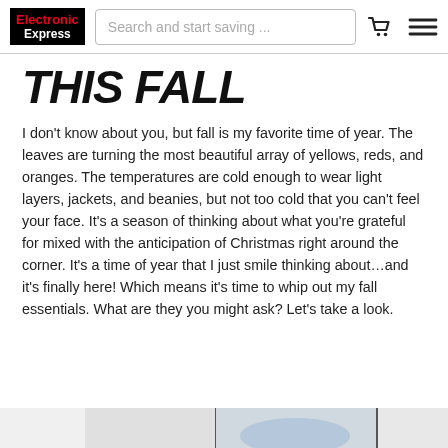Electronic Express — Search and start saving ...
THIS FALL
I don't know about you, but fall is my favorite time of year. The leaves are turning the most beautiful array of yellows, reds, and oranges. The temperatures are cold enough to wear light layers, jackets, and beanies, but not too cold that you can't feel your face. It's a season of thinking about what you're grateful for mixed with the anticipation of Christmas right around the corner. It's a time of year that I just smile thinking about…and it's finally here! Which means it's time to whip out my fall essentials. What are they you might ask? Let's take a look.
[Figure (photo): Partial view of product images at the bottom of the page]